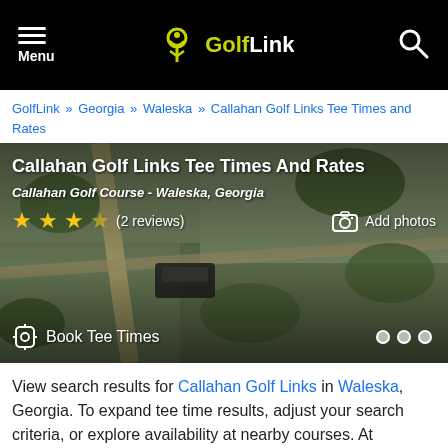Menu | GolfLink | Search
GolfLink » Georgia » Waleska » Callahan Golf Links Tee Times and Rates
[Figure (screenshot): Aerial satellite photo of Callahan Golf Links course with overlay showing title 'Callahan Golf Links Tee Times And Rates', subtitle 'Callahan Golf Course - Waleska, Georgia', 4-star rating with (2 reviews), Add photos button, Book Tee Times link, and navigation dots.]
View search results for Callahan Golf Links in Waleska, Georgia. To expand tee time results, adjust your search criteria, or explore availability at nearby courses. At Callahan Golf Links, golfers tee off from the Black, Blue, Blue/White, White, White (L), Red Or Red (L) tees at a maximum distance of 6,678 yards from the Black tees.